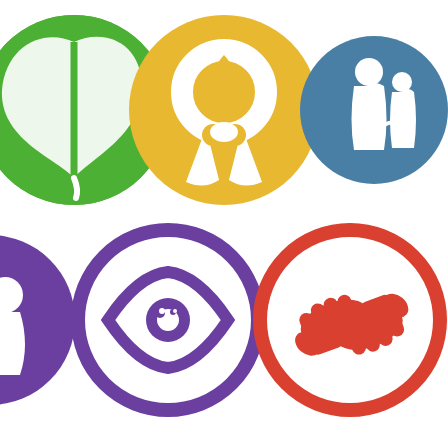[Figure (infographic): Six colorful circular icons arranged in two rows of three. Top row: 1) Green circle with a leaf/plant icon, 2) Yellow/gold circle with a awareness ribbon and circle border, 3) Steel blue circle with silhouettes of an adult and child holding hands. Bottom row: 4) Purple circle (partially cut off on left edge), 5) Purple circle with an eye icon, 6) Red/orange circle with two hands reaching toward each other.]